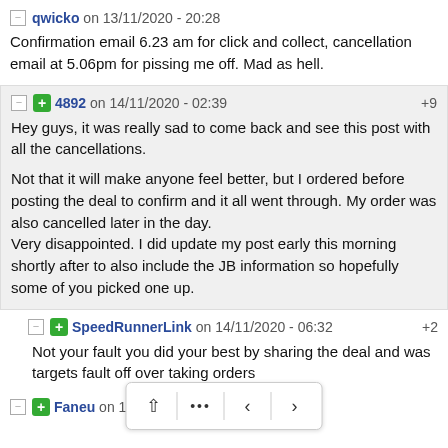qwicko on 13/11/2020 - 20:28
Confirmation email 6.23 am for click and collect, cancellation email at 5.06pm for pissing me off. Mad as hell.
4892 on 14/11/2020 - 02:39 +9
Hey guys, it was really sad to come back and see this post with all the cancellations.
Not that it will make anyone feel better, but I ordered before posting the deal to confirm and it all went through. My order was also cancelled later in the day.
Very disappointed. I did update my post early this morning shortly after to also include the JB information so hopefully some of you picked one up.
SpeedRunnerLink on 14/11/2020 - 06:32 +2
Not your fault you did your best by sharing the deal and was targets fault off over taking orders
Faneu on 14/11/2020 - 07:57